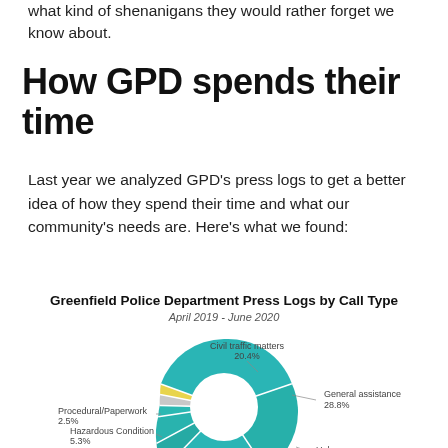what kind of shenanigans they would rather forget we know about.
How GPD spends their time
Last year we analyzed GPD's press logs to get a better idea of how they spend their time and what our community's needs are. Here's what we found:
[Figure (donut-chart): Greenfield Police Department Press Logs by Call Type]